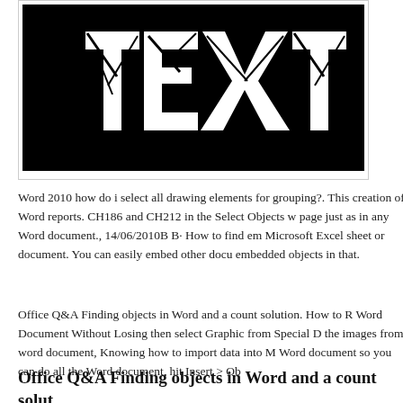[Figure (illustration): Black background image with white shattered/broken stylized word TEXT displayed prominently in the center]
Word 2010 how do i select all drawing elements for grouping?. This creation of Word reports. CH186 and CH212 in the Select Objects w page just as in any Word document., 14/06/2010B B· How to find em Microsoft Excel sheet or document. You can easily embed other docu embedded objects in that.
Office Q&A Finding objects in Word and a count solution. How to R Word Document Without Losing then select Graphic from Special D the images from word document, Knowing how to import data into M Word document so you can do all the Word document, hit Insert > Ob
Office Q&A Finding objects in Word and a count solut